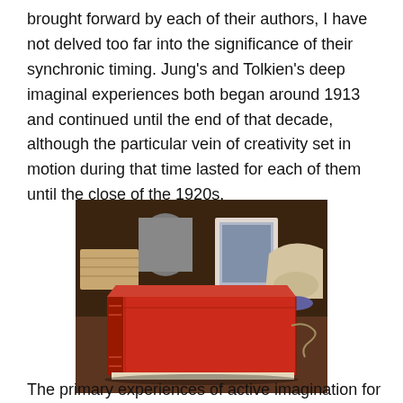brought forward by each of their authors, I have not delved too far into the significance of their synchronic timing. Jung's and Tolkien's deep imaginal experiences both began around 1913 and continued until the end of that decade, although the particular vein of creativity set in motion during that time lasted for each of them until the close of the 1920s.
[Figure (photo): A large red leather-bound book lying on a wooden desk, with various objects in the background including a framed picture, a cup, and other items.]
The primary experiences of active imagination for Jung